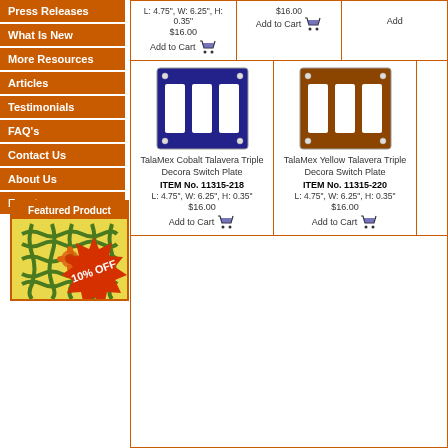Press Releases
What Is New
More Resources
Articles
Testimonials
FAQ's
Contact Us
About Us
Events
Featured Product
[Figure (photo): Decorative tile with green geometric knot pattern and orange flower center on yellow background with 10% OFF burst]
TalaMex Cobalt Talavera Triple Decora Switch Plate ITEM No. 11315-218 L: 4.75", W: 6.25", H: 0.35" $16.00 Add to Cart
TalaMex Yellow Talavera Triple Decora Switch Plate ITEM No. 11315-220 L: 4.75", W: 6.25", H: 0.35" $16.00 Add to Cart
L: 4.75", W: 6.25", H: 0.35" $16.00 Add to Cart (partial, top row)